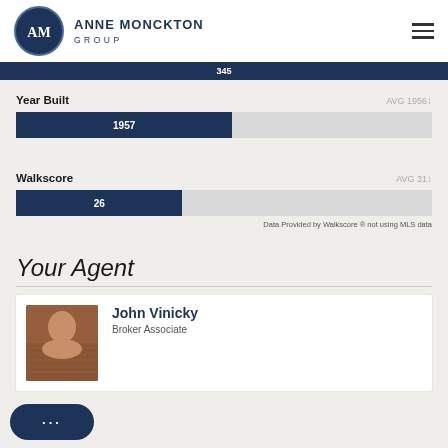Anne Monckton Group
[Figure (bar-chart): Year Built]
[Figure (bar-chart): Walkscore]
Data Provided by Walkscore ® not using MLS data
Your Agent
John Vinicky
Broker Associate